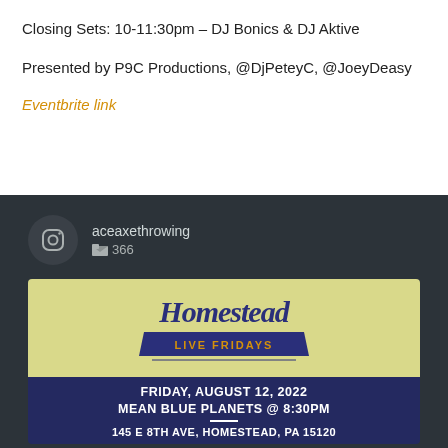Closing Sets: 10-11:30pm – DJ Bonics & DJ Aktive
Presented by P9C Productions, @DjPeteyC, @JoeyDeasy
Eventbrite link
aceaxethrowing
🖼 366
[Figure (logo): Homestead Live Fridays logo on yellow background with stylized script text and navy blue banner]